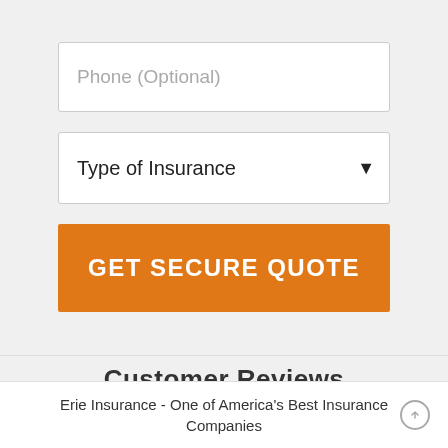Phone (Optional)
Type of Insurance
GET SECURE QUOTE
Customer Reviews
Erie Insurance - One of America's Best Insurance Companies